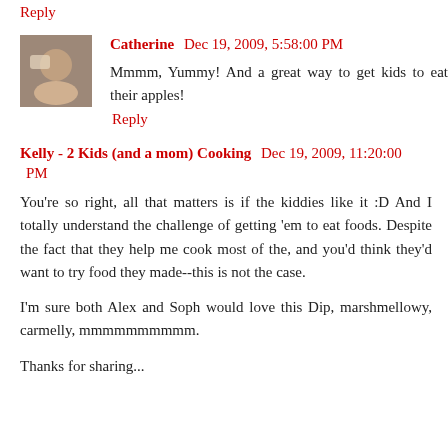Reply
Catherine  Dec 19, 2009, 5:58:00 PM
Mmmm, Yummy! And a great way to get kids to eat their apples!
Reply
Kelly - 2 Kids (and a mom) Cooking  Dec 19, 2009, 11:20:00 PM
You're so right, all that matters is if the kiddies like it :D And I totally understand the challenge of getting 'em to eat foods. Despite the fact that they help me cook most of the, and you'd think they'd want to try food they made--this is not the case.
I'm sure both Alex and Soph would love this Dip, marshmellowy, carmelly, mmmmmmmmmm.
Thanks for sharing...